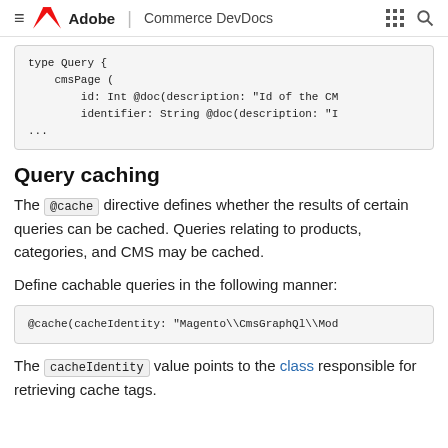≡  Adobe | Commerce DevDocs  ⠿  🔍
[Figure (screenshot): Code block showing GraphQL schema snippet: type Query { cmsPage ( id: Int @doc(description: "Id of the CM  identifier: String @doc(description: "I  ...]
Query caching
The @cache directive defines whether the results of certain queries can be cached. Queries relating to products, categories, and CMS may be cached.
Define cachable queries in the following manner:
[Figure (screenshot): Code block showing: @cache(cacheIdentity: "Magento\\CmsGraphQl\\Mod]
The cacheIdentity value points to the class responsible for retrieving cache tags.